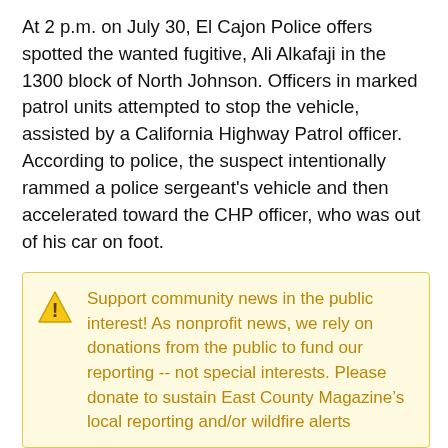At 2 p.m. on July 30, El Cajon Police offers spotted the wanted fugitive, Ali Alkafaji in the 1300 block of North Johnson. Officers in marked patrol units attempted to stop the vehicle, assisted by a California Highway Patrol officer. According to police, the suspect intentionally rammed a police sergeant's vehicle and then accelerated toward the CHP officer, who was out of his car on foot.
According to Lieutenant Frank La Haye, “The suspect continued in the CHP officer’s direction, attempting to run him over. The CHP officer, fearing for his life, fired several rounds at the suspect’s vehicle.”
Support community news in the public interest! As nonprofit news, we rely on donations from the public to fund our reporting -- not special interests. Please donate to sustain East County Magazine’s local reporting and/or wildfire alerts